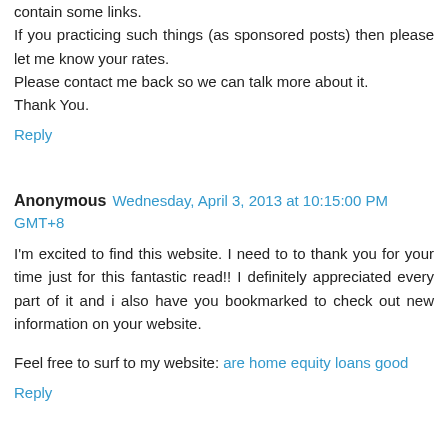contain some links.
If you practicing such things (as sponsored posts) then please let me know your rates.
Please contact me back so we can talk more about it.
Thank You.
Reply
Anonymous  Wednesday, April 3, 2013 at 10:15:00 PM GMT+8
I'm excited to find this website. I need to to thank you for your time just for this fantastic read!! I definitely appreciated every part of it and i also have you bookmarked to check out new information on your website.
Feel free to surf to my website: are home equity loans good
Reply
Travel Installment Plan Philippines  Monday, April 8, 2013 at 5:56:00 PM GMT+8